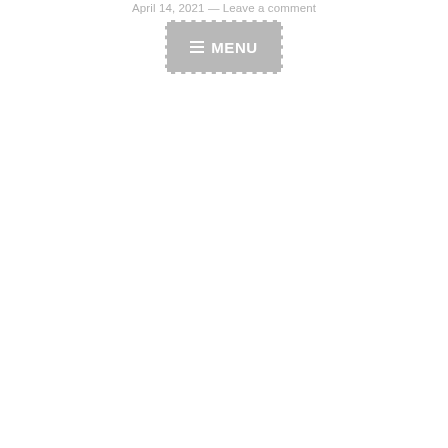April 14, 2021 — Leave a comment
[Figure (screenshot): A grey button with dashed white border showing a hamburger menu icon and the text MENU in white on a grey background]